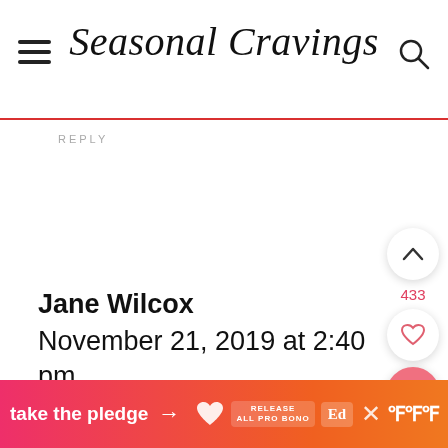Seasonal Cravings
REPLY
Jane Wilcox
November 21, 2019 at 2:40 pm
I thought this was kind of bland for me. I am doctoring it as I write. I am a spicy p...
[Figure (screenshot): Bottom banner ad: 'take the pledge' with arrow, Release logo, Ed logo, close X, and thermometer icon on orange-pink gradient background]